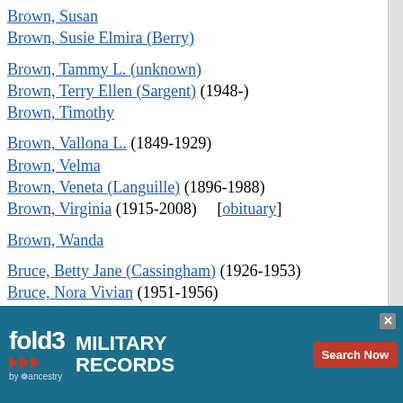Brown, Susan
Brown, Susie Elmira (Berry)
Brown, Tammy L. (unknown)
Brown, Terry Ellen (Sargent) (1948-)
Brown, Timothy
Brown, Vallona L. (1849-1929)
Brown, Velma
Brown, Veneta (Languille) (1896-1988)
Brown, Virginia (1915-2008) [obituary]
Brown, Wanda
Bruce, Betty Jane (Cassingham) (1926-1953)
Bruce, Nora Vivian (1951-1956)
Brueger, Magdalena (1849-1929)
Bruening, Ione Elaine (Hoxie) (1908-1997)
Bruening, K.
Brumbaugh, Blanche (1898-1966)
Brumbaugh, ...
Brumbaugh, ...
[Figure (infographic): fold3 by Ancestry military records advertisement banner at bottom of page]